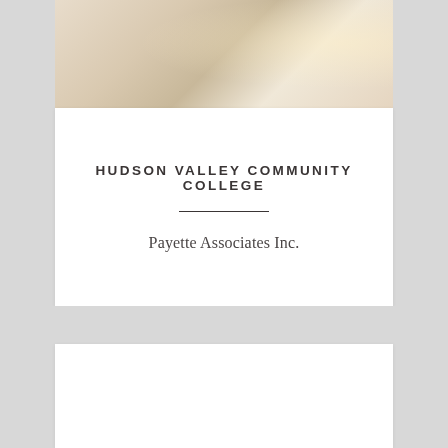[Figure (photo): A beige/tan flooring surface photo used as a header image, with subtle texture and a bright reflection in the upper right corner.]
HUDSON VALLEY COMMUNITY COLLEGE
Payette Associates Inc.